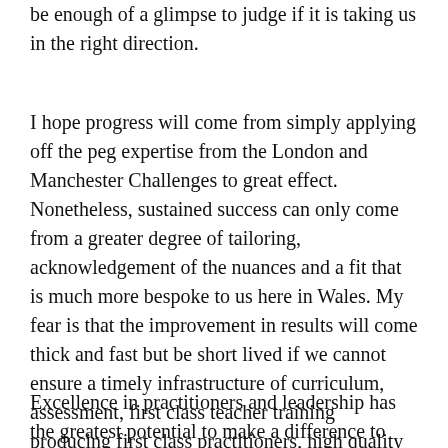be enough of a glimpse to judge if it is taking us in the right direction.
I hope progress will come from simply applying off the peg expertise from the London and Manchester Challenges to great effect. Nonetheless, sustained success can only come from a greater degree of tailoring, acknowledgement of the nuances and a fit that is much more bespoke to us here in Wales. My fear is that the improvement in results will come thick and fast but be short lived if we cannot ensure a timely infrastructure of curriculum, assessment, first class teacher training producing first class practitioners, high quality continued professional development and excellence in school leadership.
Excellence in practitioners and leadership has the greatest potential to make a difference to learner outcomes, but it is also our area of greatest need. There is